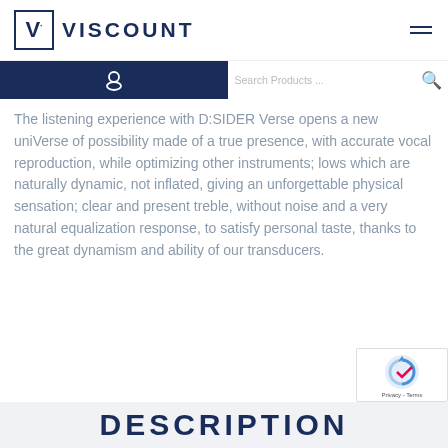[Figure (logo): Viscount logo with boxed V icon and VISCOUNT wordmark in navy blue]
[Figure (other): Hamburger menu icon (three horizontal lines)]
[Figure (other): Navigation search bar with person icon on left and Search Products... text field with magnify icon]
The listening experience with D:SIDER Verse opens a new uniVerse of possibility made of a true presence, with accurate vocal reproduction, while optimizing other instruments; lows which are naturally dynamic, not inflated, giving an unforgettable physical sensation; clear and present treble, without noise and a very natural equalization response, to satisfy personal taste, thanks to the great dynamism and ability of our transducers.
[Figure (logo): reCAPTCHA badge with logo and Privacy - Terms text]
DESCRIPTION